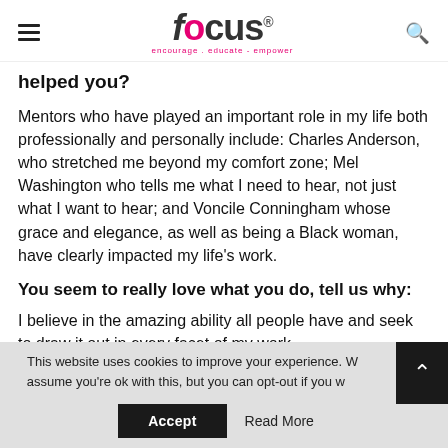focus encourage . educate - empower
helped you?
Mentors who have played an important role in my life both professionally and personally include: Charles Anderson, who stretched me beyond my comfort zone; Mel Washington who tells me what I need to hear, not just what I want to hear; and Voncile Conningham whose grace and elegance, as well as being a Black woman, have clearly impacted my life's work.
You seem to really love what you do, tell us why:
I believe in the amazing ability all people have and seek to draw it out in every facet of my work.
This website uses cookies to improve your experience. We assume you're ok with this, but you can opt-out if you wish. Accept Read More